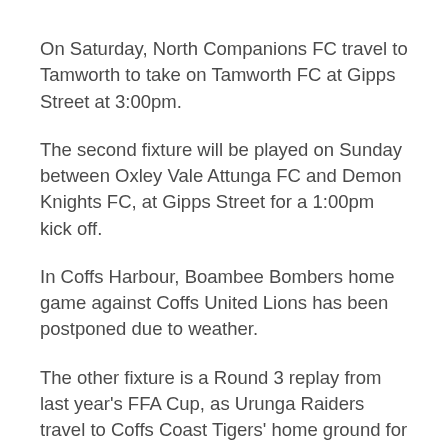On Saturday, North Companions FC travel to Tamworth to take on Tamworth FC at Gipps Street at 3:00pm.
The second fixture will be played on Sunday between Oxley Vale Attunga FC and Demon Knights FC, at Gipps Street for a 1:00pm kick off.
In Coffs Harbour, Boambee Bombers home game against Coffs United Lions has been postponed due to weather.
The other fixture is a Round 3 replay from last year's FFA Cup, as Urunga Raiders travel to Coffs Coast Tigers' home ground for a 3pm kick-off on Saturday. The Tigers defeated Urunga on penalties last year, and will be